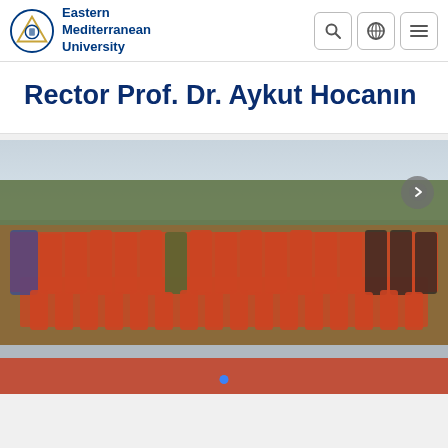Eastern Mediterranean University
Rector Prof. Dr. Aykut Hocanın
[Figure (photo): Group photo of a university American football team in orange uniforms with helmets, posing on a sports field with trees and a blue tent in the background. A person in civilian clothes stands in the center, likely the rector or a university official.]